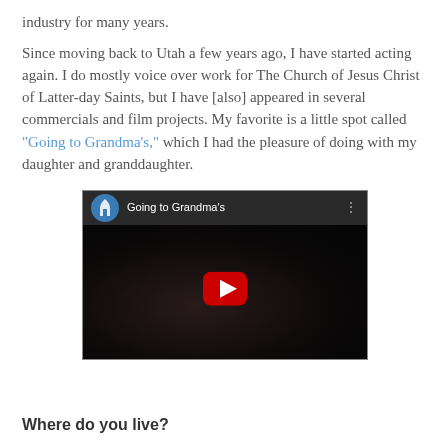industry for many years.
Since moving back to Utah a few years ago, I have started acting again. I do mostly voice over work for The Church of Jesus Christ of Latter-day Saints, but I have [also] appeared in several commercials and film projects. My favorite is a little spot called "Going to Grandma's," which I had the pleasure of doing with my daughter and granddaughter.
[Figure (screenshot): YouTube video embed showing 'Going to Grandma's' with a Church of Jesus Christ logo icon, video title text, and a red play button over a dark image of a child.]
Where do you live?